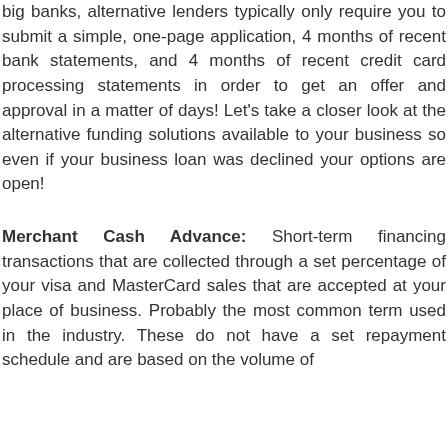big banks, alternative lenders typically only require you to submit a simple, one-page application, 4 months of recent bank statements, and 4 months of recent credit card processing statements in order to get an offer and approval in a matter of days! Let's take a closer look at the alternative funding solutions available to your business so even if your business loan was declined your options are open!
Merchant Cash Advance: Short-term financing transactions that are collected through a set percentage of your visa and MasterCard sales that are accepted at your place of business. Probably the most common term used in the industry. These do not have a set repayment schedule and are based on the volume of